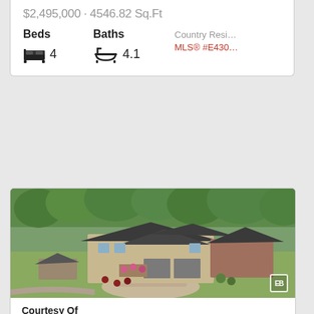$2,495,000 · 4546.82 Sq.Ft
Beds
Baths
4
4.1
Country Resi…
MLS® #E430…
[Figure (photo): Aerial drone photo of a large luxury country home with dark grey roofing, stone/brick exterior, circular driveway, surrounded by trees and landscaping]
Courtesy Of
Marc Lachance Of RE/MAX Elite
328 52328 RGE RD 233 Rural